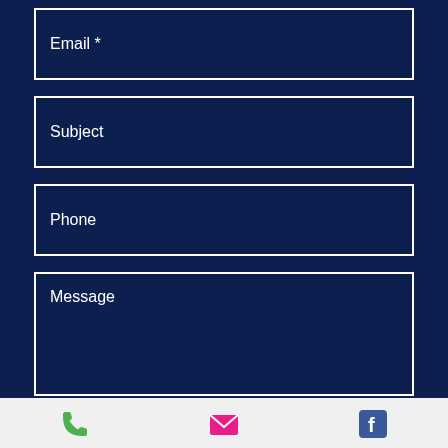Email *
Subject
Phone
Message
Send
[Figure (illustration): Bottom navigation bar with three icons: green phone icon, pink/red email envelope icon, blue Facebook icon]